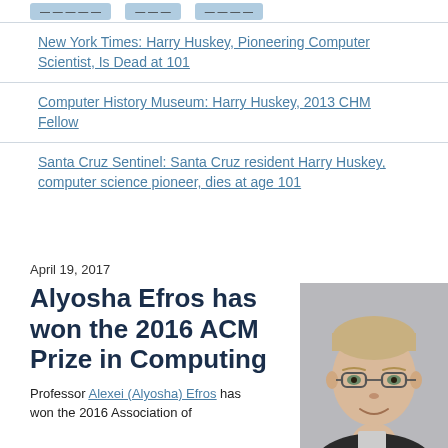New York Times: Harry Huskey, Pioneering Computer Scientist, Is Dead at 101
Computer History Museum: Harry Huskey, 2013 CHM Fellow
Santa Cruz Sentinel: Santa Cruz resident Harry Huskey, computer science pioneer, dies at age 101
April 19, 2017
Alyosha Efros has won the 2016 ACM Prize in Computing
[Figure (photo): Headshot photo of Alyosha Efros, a man with blonde hair and glasses, wearing a dark jacket, smiling]
Professor Alexei (Alyosha) Efros has won the 2016 Association of...